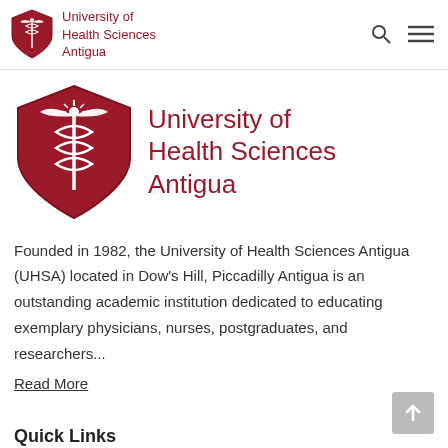University of Health Sciences Antigua
[Figure (logo): University of Health Sciences Antigua shield logo with caduceus, large version]
Founded in 1982, the University of Health Sciences Antigua (UHSA) located in Dow's Hill, Piccadilly Antigua is an outstanding academic institution dedicated to educating exemplary physicians, nurses, postgraduates, and researchers...
Read More
Quick Links
Apply Online